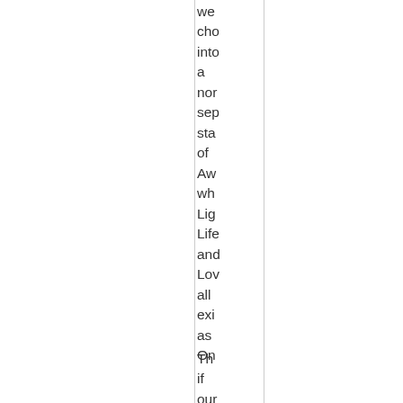we cho into a non sep sta of Aw wh Lig Life and Lov all exi as On
Th if our Dh allo us to